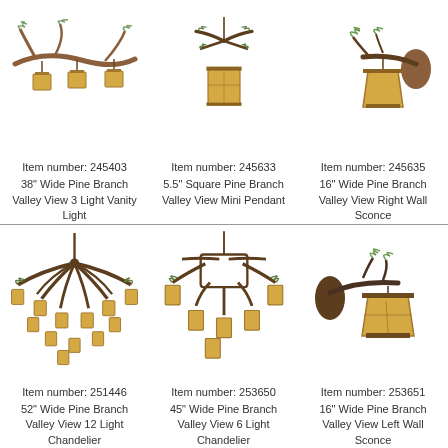[Figure (illustration): 38 inch Wide Pine Branch Valley View 3 Light Vanity Light - brown branching fixture with three amber lantern shades]
Item number: 245403
38" Wide Pine Branch Valley View 3 Light Vanity Light
[Figure (illustration): 5.5 inch Square Pine Branch Valley View Mini Pendant - pine branch top with square amber pendant shade]
Item number: 245633
5.5" Square Pine Branch Valley View Mini Pendant
[Figure (illustration): 16 inch Wide Pine Branch Valley View Right Wall Sconce - branch with single amber shade]
Item number: 245635
16" Wide Pine Branch Valley View Right Wall Sconce
[Figure (illustration): 52 inch Wide Pine Branch Valley View 12 Light Chandelier - large spreading branch chandelier with many amber lanterns]
Item number: 251446
52" Wide Pine Branch Valley View 12 Light Chandelier
[Figure (illustration): 45 inch Wide Pine Branch Valley View 6 Light Chandelier - branching chandelier with six amber lanterns]
Item number: 253650
45" Wide Pine Branch Valley View 6 Light Chandelier
[Figure (illustration): 16 inch Wide Pine Branch Valley View Left Wall Sconce - branch with single amber shade]
Item number: 253651
16" Wide Pine Branch Valley View Left Wall Sconce